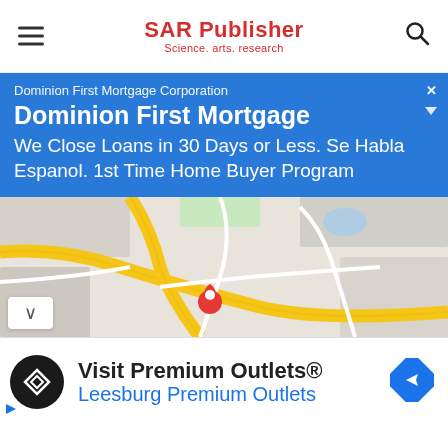SAR Publisher — Science. arts. research
[Figure (screenshot): Blue advertisement banner for Dominion First Mortgage Corporation with white text: 'Dominion First Mortgage Corporation', 'Dominion First Mortgage', 'We Close Loans in 30 Days or Less. Se Habla Espanol. 1st Time Home Buyer Program']
[Figure (map): Google Maps screenshot showing road map with yellow roads, gray areas, and a red location pin marker in the center]
[Figure (screenshot): Advertisement for Visit Premium Outlets - Leesburg Premium Outlets with black circular logo and blue diamond navigation icon]